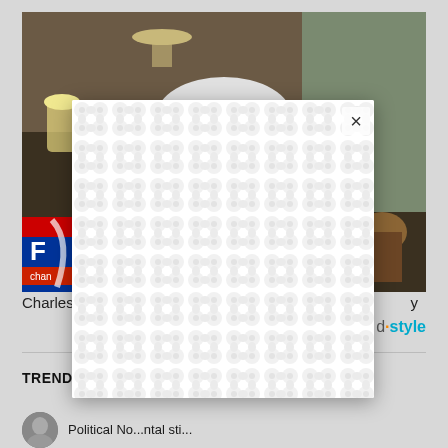[Figure (screenshot): A screenshot of a news website showing a video thumbnail of an older white-haired man on Fox News channel, with a modal popup overlay containing a repeating bubble/dot pattern and a close (X) button. Below the video area is text starting with 'Charles' and a 'd·style' logo. A 'TRENDING STORIES' section header appears below a horizontal rule, with a story row at the bottom.]
Charles
d·style
TRENDING STORIES